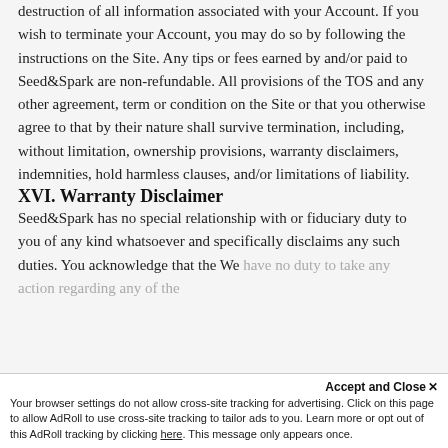destruction of all information associated with your Account. If you wish to terminate your Account, you may do so by following the instructions on the Site. Any tips or fees earned by and/or paid to Seed&Spark are non-refundable. All provisions of the TOS and any other agreement, term or condition on the Site or that you otherwise agree to that by their nature shall survive termination, including, without limitation, ownership provisions, warranty disclaimers, indemnities, hold harmless clauses, and/or limitations of liability.
XVI. Warranty Disclaimer
Seed&Spark has no special relationship with or fiduciary duty to you of any kind whatsoever and specifically disclaims any such duties. You acknowledge that the We have no duty to take any action regarding any of the...
Accept and Close ✕
Your browser settings do not allow cross-site tracking for advertising. Click on this page to allow AdRoll to use cross-site tracking to tailor ads to you. Learn more or opt out of this AdRoll tracking by clicking here. This message only appears once.